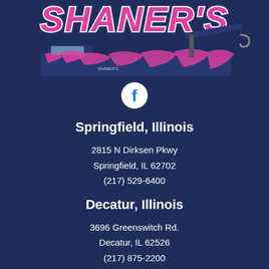[Figure (logo): Shaner's towing company logo with pink stylized text and a large blue tow truck with pink flame/stripe graphics.]
[Figure (other): Facebook social media icon - white circle with Facebook 'f' logo.]
Springfield, Illinois
2815 N Dirksen Pkwy
Springfield, IL 62702
(217) 529-6400
Decatur, Illinois
3696 Greenswitch Rd.
Decatur, IL 62526
(217) 875-2200